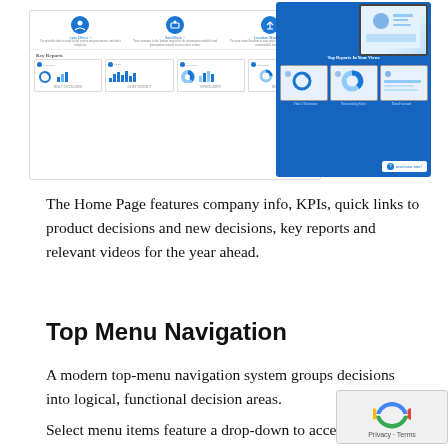[Figure (screenshot): Screenshot of a web application home page showing KPIs, key reports panel on the left with icons and chart thumbnails, and a blue panel on the right showing monitor/device mockups with dashboard previews]
The Home Page features company info, KPIs, quick links to product decisions and new decisions, key reports and relevant videos for the year ahead.
Top Menu Navigation
A modern top-menu navigation system groups decisions into logical, functional decision areas.
Select menu items feature a drop-down to access a sub-menu: